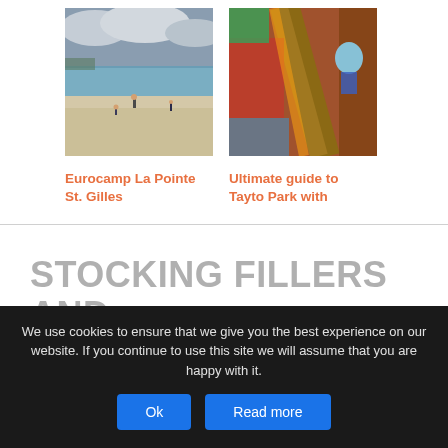[Figure (photo): Beach scene with sandy shore, ocean water, cloudy sky, and people walking on the beach]
Eurocamp La Pointe St. Gilles
[Figure (photo): Indoor colorful play area with wooden structures, red and colorful elements, people visible]
Ultimate guide to Tayto Park with
STOCKING FILLERS AND SECRET SANTA GIFT IDEAS
We use cookies to ensure that we give you the best experience on our website. If you continue to use this site we will assume that you are happy with it.